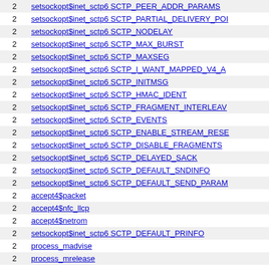| count | name |
| --- | --- |
| 2 | setsockopt$inet_sctp6 SCTP_PEER_ADDR_PARAMS |
| 2 | setsockopt$inet_sctp6 SCTP_PARTIAL_DELIVERY_POINT |
| 2 | setsockopt$inet_sctp6 SCTP_NODELAY |
| 2 | setsockopt$inet_sctp6 SCTP_MAX_BURST |
| 2 | setsockopt$inet_sctp6 SCTP_MAXSEG |
| 2 | setsockopt$inet_sctp6 SCTP_I_WANT_MAPPED_V4_ADDR |
| 2 | setsockopt$inet_sctp6 SCTP_INITMSG |
| 2 | setsockopt$inet_sctp6 SCTP_HMAC_IDENT |
| 2 | setsockopt$inet_sctp6 SCTP_FRAGMENT_INTERLEAVE |
| 2 | setsockopt$inet_sctp6 SCTP_EVENTS |
| 2 | setsockopt$inet_sctp6 SCTP_ENABLE_STREAM_RESET |
| 2 | setsockopt$inet_sctp6 SCTP_DISABLE_FRAGMENTS |
| 2 | setsockopt$inet_sctp6 SCTP_DELAYED_SACK |
| 2 | setsockopt$inet_sctp6 SCTP_DEFAULT_SNDINFO |
| 2 | setsockopt$inet_sctp6 SCTP_DEFAULT_SEND_PARAMS |
| 2 | accept4$packet |
| 2 | accept4$nfc_llcp |
| 2 | accept4$netrom |
| 2 | setsockopt$inet_sctp6 SCTP_DEFAULT_PRINFO |
| 2 | process_madvise |
| 2 | process_mrelease |